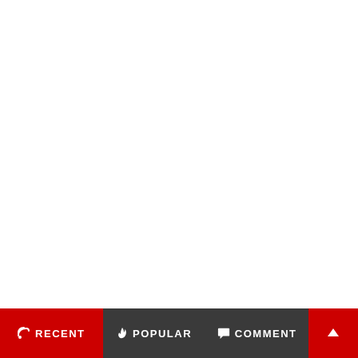RECENT | POPULAR | COMMENT | ↑